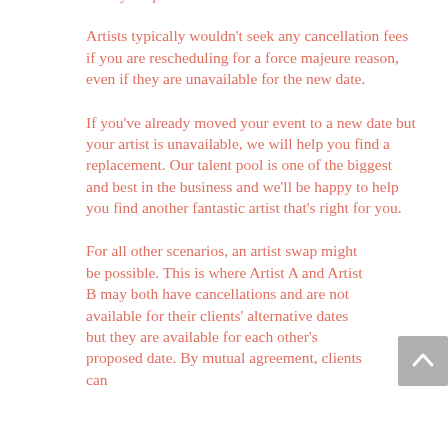from your previous venue.
Artists typically wouldn't seek any cancellation fees if you are rescheduling for a force majeure reason, even if they are unavailable for the new date.
If you've already moved your event to a new date but your artist is unavailable, we will help you find a replacement. Our talent pool is one of the biggest and best in the business and we'll be happy to help you find another fantastic artist that's right for you.
For all other scenarios, an artist swap might be possible. This is where Artist A and Artist B may both have cancellations and are not available for their clients' alternative dates but they are available for each other's proposed date. By mutual agreement, clients can